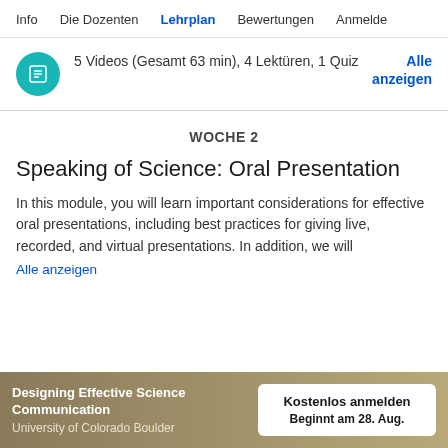Info   Die Dozenten   Lehrplan   Bewertungen   Anmelde
5 Videos (Gesamt 63 min), 4 Lektüren, 1 Quiz
Alle anzeigen
WOCHE 2
Speaking of Science: Oral Presentation
In this module, you will learn important considerations for effective oral presentations, including best practices for giving live, recorded, and virtual presentations. In addition, we will
Alle anzeigen
Designing Effective Science Communication
University of Colorado Boulder
Kostenlos anmelden
Beginnt am 28. Aug.